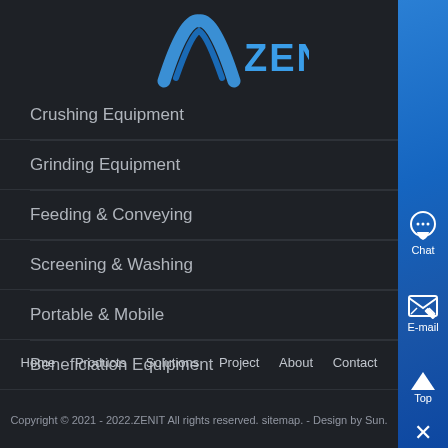[Figure (logo): ZENIT company logo with blue arch/chevron shape and blue ZENIT text]
Crushing Equipment
Grinding Equipment
Feeding & Conveying
Screening & Washing
Portable & Mobile
Beneficiation Equipment
Home   Products   Solutions   Project   About   Contact
Copyright © 2021 - 2022.ZENIT All rights reserved. sitemap. - Design by Sun.